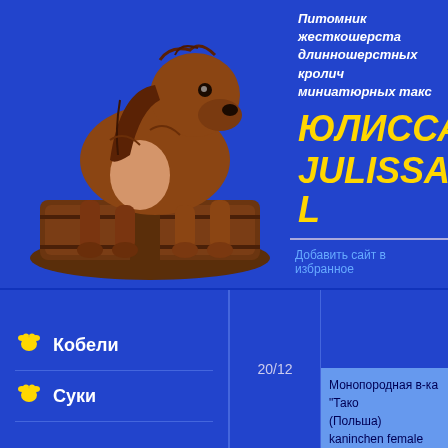[Figure (photo): Photo of a long-haired dachshund dog sitting on a decorative box/trunk, brown and black coloring, against blue background]
Питомник жесткошерстных длинношерстных кролич миниатюрных такс
ЮЛИССА JULISSA L
Добавить сайт в избранное
🐾 Кобели
🐾 Суки
20/12
Монопородная в-ка "Так (Польша) kaninchen female rauhha